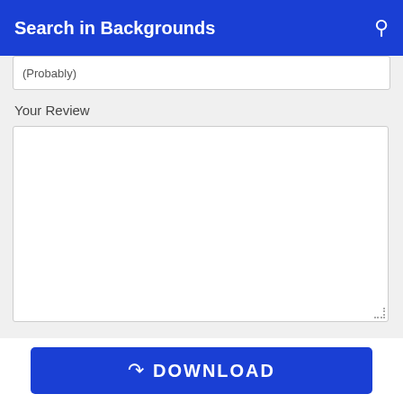Search in Backgrounds
(Probably)
Your Review
[Figure (screenshot): Empty text area for entering a review]
[Figure (screenshot): Blue Submit button]
[Figure (screenshot): Blue DOWNLOAD button with arrow icon]